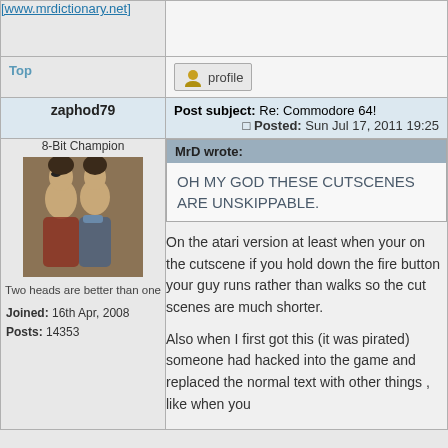[www.mrdictionary.net]
Top
profile
zaphod79
Post subject: Re: Commodore 64! Posted: Sun Jul 17, 2011 19:25
8-Bit Champion
[Figure (photo): Two people, one wearing an eye patch]
Two heads are better than one
Joined: 16th Apr, 2008 Posts: 14353
MrD wrote: OH MY GOD THESE CUTSCENES ARE UNSKIPPABLE.
On the atari version at least when your on the cutscene if you hold down the fire button your guy runs rather than walks so the cut scenes are much shorter.
Also when I first got this (it was pirated) someone had hacked into the game and replaced the normal text with other things , like when you